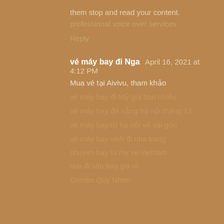them stop and read your content.
professional voice over services
Reply
vé máy bay đi Nga  April 16, 2021 at 4:12 PM
Mua vé tại Aivivu, tham khảo
vé máy bay đi Mỹ giá bao nhiêu
vé máy bay đà nẵng hà nội tháng 12
vé máy bay từ hà nội về sài gòn
vé máy bay vinh đi nha trang
chuyen bay tu my ve vietnam
taxi đi sân bay giá rẻ
Combo Quy Nhơn